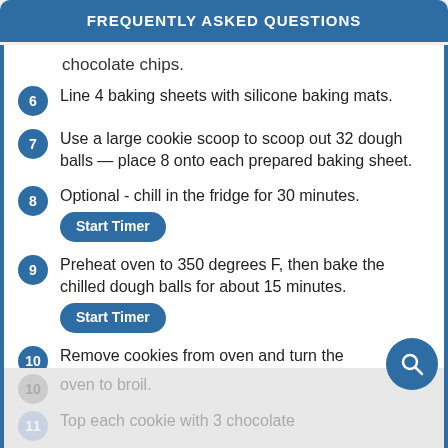FREQUENTLY ASKED QUESTIONS
chocolate chips.
6 Line 4 baking sheets with silicone baking mats.
7 Use a large cookie scoop to scoop out 32 dough balls — place 8 onto each prepared baking sheet.
8 Optional - chill in the fridge for 30 minutes. [Start Timer]
9 Preheat oven to 350 degrees F, then bake the chilled dough balls for about 15 minutes. [Start Timer]
10 Remove cookies from oven and turn the oven to broil.
11 Top each cookie with 3 chocolate